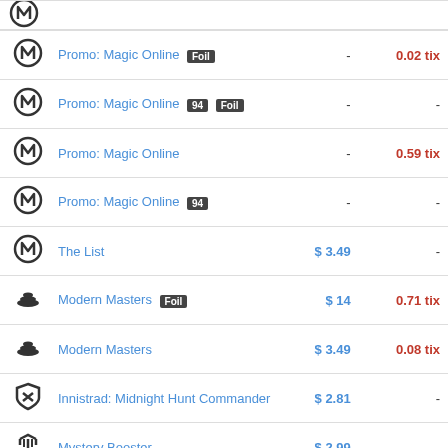| Icon | Name | Price | Tix |
| --- | --- | --- | --- |
| (M icon) | Promo: Magic Online [Foil] | - | 0.02 tix |
| (M icon) | Promo: Magic Online [94] [Foil] | - | - |
| (M icon) | Promo: Magic Online | - | 0.59 tix |
| (M icon) | Promo: Magic Online [94] | - | - |
| (M icon) | The List | $ 3.49 | - |
| (Modern Masters icon) | Modern Masters [Foil] | $ 14 | 0.71 tix |
| (Modern Masters icon) | Modern Masters | $ 3.49 | 0.08 tix |
| (Innistrad icon) | Innistrad: Midnight Hunt Commander | $ 2.81 | - |
| (Mystery Booster icon) | Mystery Booster | $ 2.99 | - |
| (DD icon) | DD: Izzet vs. Golgari | $ 3.27 | 0.84 tix |
| (Commander Legends icon) | Commander Legends [Precon] | $ 2.70 | 0.18 tix |
| (Commander icon) | Commander | $ 4.23 | 0.51 tix |